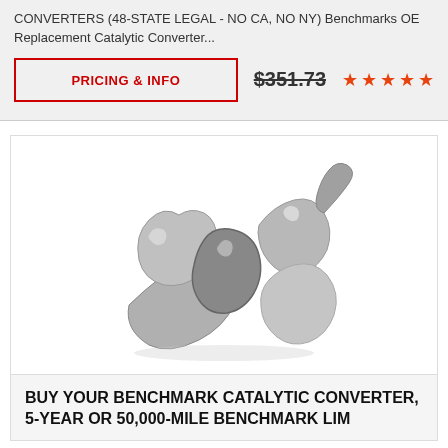CONVERTERS (48-STATE LEGAL - NO CA, NO NY) Benchmarks OE Replacement Catalytic Converter...
PRICING & INFO | $351.73 | ★★★★★
[Figure (photo): Product photo of a Benchmark catalytic converter assembly shown on white background, metallic silver/grey color]
BUY YOUR BENCHMARK CATALYTIC CONVERTER, 5-YEAR OR 50,000-MILE BENCHMARK LIM